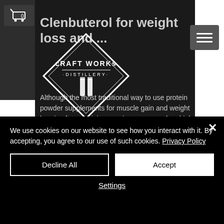Clenbuterol for weight loss and ...
Although the most traditional way to use protein powder supplements for muscle gain and weight loss is after a training session, you can also drink a protein supplement before a training session. Using creatine monohydrate for a long period of time is a bad idea because you get a greater amount of creatine in your blood, which may
[Figure (logo): Craft Works Distillery logo — diamond shape with text CRAFT WORKS DISTILLERY]
We use cookies on our website to see how you interact with it. By accepting, you agree to our use of such cookies. Privacy Policy
Decline All
Accept
Settings